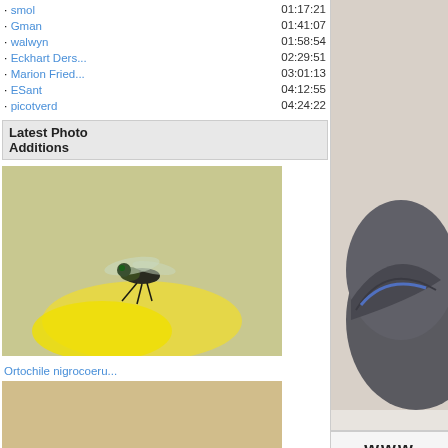· smol  01:17:21
· Gman  01:41:07
· walwyn  01:58:54
· Eckhart Ders...  02:29:51
· Marion Fried...  03:01:13
· ESant  04:12:55
· picotverd  04:24:22
Latest Photo Additions
[Figure (photo): Macro photo of Ortochile nigrocoerulea fly on yellow flower]
Ortochile nigrocoeru...
[Figure (photo): Macro photo of Cephalia rufipes (female) red and black ant on sandy surface]
Cephalia rufipes (fe...
[Figure (photo): Macro photo of Euthycera cribrata fly on green leaf]
Euthycera cribrata (...
[Figure (photo): Partial macro photo of small insects on surface]
[Figure (photo): Large close-up photo of bird (right column), partially cropped]
[159.61Kb]
Edited by jorgemotalmeida on 20-12-
www